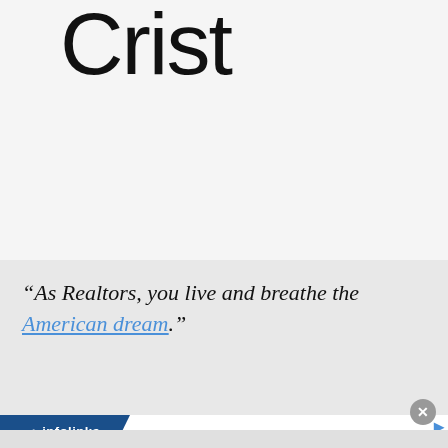Crist
“As Realtors, you live and breathe the American dream.”
[Figure (infographic): Infolinks advertisement banner for Frontgate: Outdoor Furniture | Bedding. Shows 25% off sitewide sale with image of promotional graphic, text '25% off site wide sale going on now at Frontgate.com', domain 'frontgate.com', and a blue circular arrow button.]